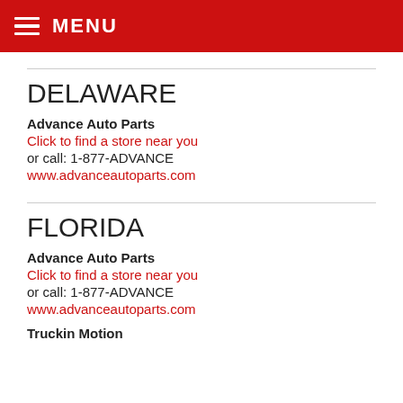MENU
DELAWARE
Advance Auto Parts
Click to find a store near you
or call: 1-877-ADVANCE
www.advanceautoparts.com
FLORIDA
Advance Auto Parts
Click to find a store near you
or call: 1-877-ADVANCE
www.advanceautoparts.com
Truckin Motion